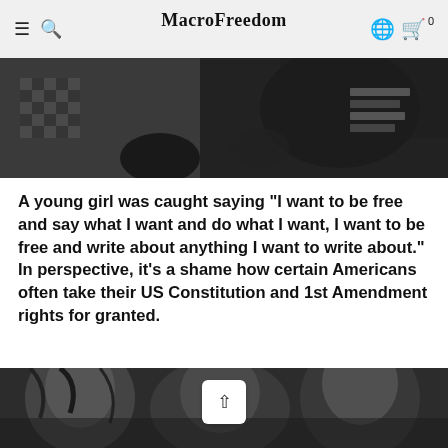MacroFreedom
[Figure (photo): Black and white photo showing people, arms and fabric visible, crowded scene]
A young girl was caught saying "I want to be free and say what I want and do what I want, I want to be free and write about anything I want to write about." In perspective, it's a shame how certain Americans often take their US Constitution and 1st Amendment rights for granted.
[Figure (photo): Black and white photo of women in a crowd, one woman in foreground appears to be speaking or shouting]